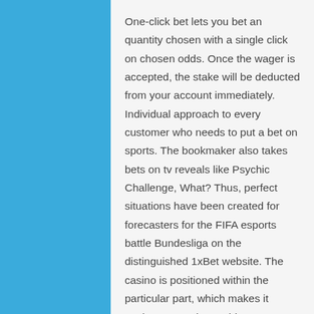One-click bet lets you bet an quantity chosen with a single click on chosen odds. Once the wager is accepted, the stake will be deducted from your account immediately. Individual approach to every customer who needs to put a bet on sports. The bookmaker also takes bets on tv reveals like Psychic Challenge, What? Thus, perfect situations have been created for forecasters for the FIFA esports battle Bundesliga on the distinguished 1xBet website. The casino is positioned within the particular part, which makes it easier to search out video games, especially at the initial stage.
First factor you need to do is on-line search the language 1xBet app Windows prepare to look out the world broad